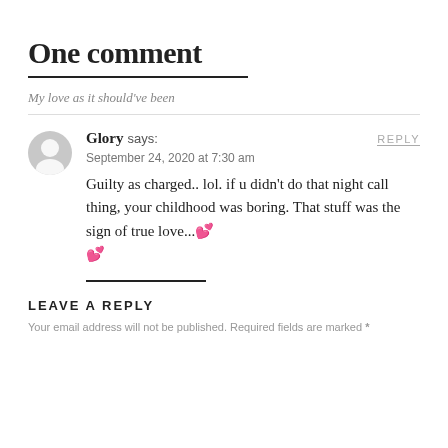One comment
My love as it should've been
Glory says:
September 24, 2020 at 7:30 am
Guilty as charged.. lol. if u didn't do that night call thing, your childhood was boring. That stuff was the sign of true love...💕💕
LEAVE A REPLY
Your email address will not be published. Required fields are marked *